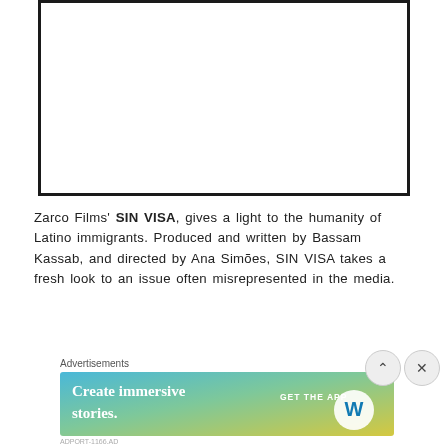[Figure (other): A white rectangular image placeholder with a thick black border, representing an embedded video or photo frame.]
Zarco Films' SIN VISA, gives a light to the humanity of Latino immigrants. Produced and written by Bassam Kassab,  and directed by Ana Simões, SIN VISA takes a fresh look to an issue often misrepresented in the media.
Advertisements
[Figure (illustration): Advertisement banner for WordPress with gradient background (blue to green to yellow). Text reads 'Create immersive stories.' with 'GET THE APP' and WordPress logo on the right.]